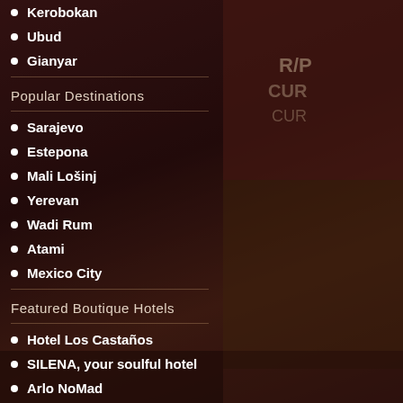Kerobokan
Ubud
Gianyar
Popular Destinations
Sarajevo
Estepona
Mali Lošinj
Yerevan
Wadi Rum
Atami
Mexico City
Featured Boutique Hotels
Hotel Los Castaños
SILENA, your soulful hotel
Arlo NoMad